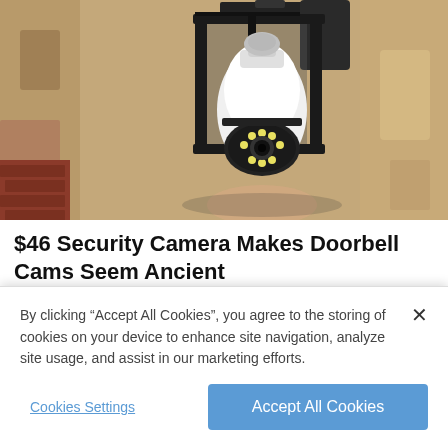[Figure (photo): A security camera shaped like a light bulb installed inside a black metal outdoor lantern fixture mounted on a textured stucco wall.]
$46 Security Camera Makes Doorbell Cams Seem Ancient
By clicking “Accept All Cookies”, you agree to the storing of cookies on your device to enhance site navigation, analyze site usage, and assist in our marketing efforts.
Cookies Settings
Accept All Cookies